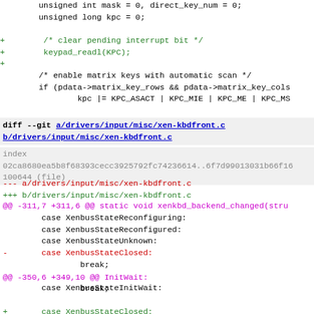unsigned int mask = 0, direct_key_num = 0;
        unsigned long kpc = 0;

+       /* clear pending interrupt bit */
+       keypad_readl(KPC);
+
        /* enable matrix keys with automatic scan */
        if (pdata->matrix_key_rows && pdata->matrix_key_cols
                kpc |= KPC_ASACT | KPC_MIE | KPC_ME | KPC_MS
diff --git a/drivers/input/misc/xen-kbdfront.c b/drivers/input/misc/xen-kbdfront.c
index 02ca8680ea5b8f68393cecc3925792fc74236614..6f7d99013031b66f16
100644 (file)
--- a/drivers/input/misc/xen-kbdfront.c
+++ b/drivers/input/misc/xen-kbdfront.c
@@ -311,7 +311,6 @@ static void xenkbd_backend_changed(stru
case XenbusStateReconfiguring:
        case XenbusStateReconfigured:
        case XenbusStateUnknown:
-       case XenbusStateClosed:
                break;

        case XenbusStateInitWait:
@@ -350,6 +349,10 @@ InitWait:
break;

+       case XenbusStateClosed:
+               if (dev->state == XenbusStateClosed)